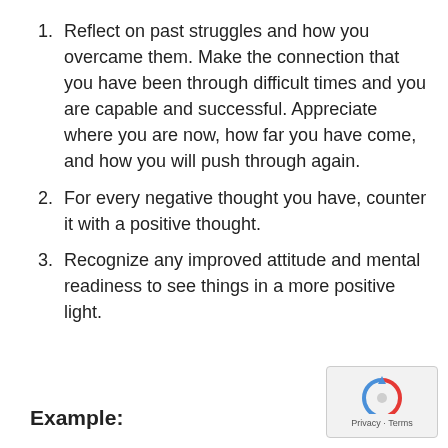Reflect on past struggles and how you overcame them. Make the connection that you have been through difficult times and you are capable and successful. Appreciate where you are now, how far you have come, and how you will push through again.
For every negative thought you have, counter it with a positive thought.
Recognize any improved attitude and mental readiness to see things in a more positive light.
Example:
[Figure (other): reCAPTCHA privacy and terms widget with logo]